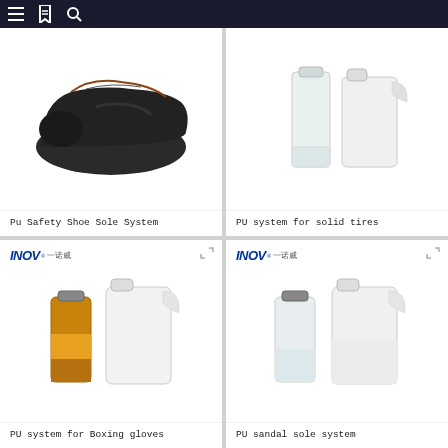Navigation bar with menu, bookmark, and search icons
[Figure (photo): Black leather safety shoes on white background]
Pu Safety Shoe Sole System
[Figure (photo): Two white/clear bottles of PU chemical system on white background]
PU system for solid tires
[Figure (photo): INOV branded amber glass bottle and white jug of PU system for boxing gloves]
PU system for Boxing gloves
[Figure (photo): INOV branded clear glass bottle and white jug of PU sandal sole system]
PU sandal sole system